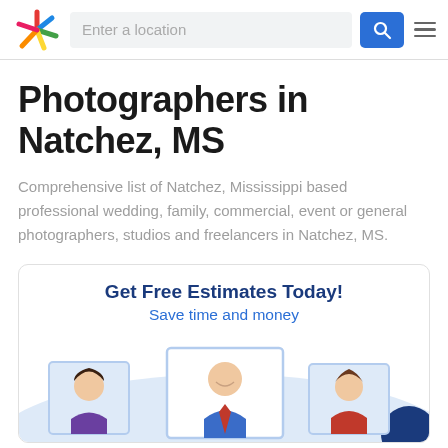Enter a location
Photographers in Natchez, MS
Comprehensive list of Natchez, Mississippi based professional wedding, family, commercial, event or general photographers, studios and freelancers in Natchez, MS.
[Figure (illustration): Promotional card with text 'Get Free Estimates Today! Save time and money' and an illustration of three framed portrait photos of people over a light blue wave background with a dark circle element in the corner.]